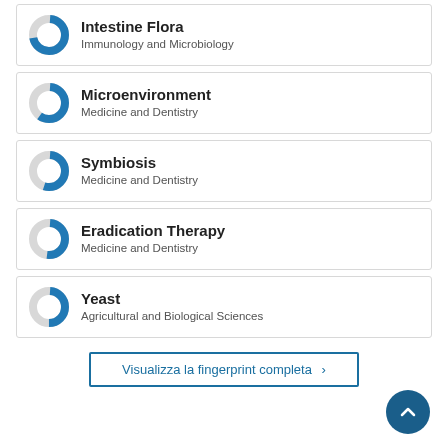Intestine Flora
Immunology and Microbiology
Microenvironment
Medicine and Dentistry
Symbiosis
Medicine and Dentistry
Eradication Therapy
Medicine and Dentistry
Yeast
Agricultural and Biological Sciences
Visualizza la fingerprint completa ›